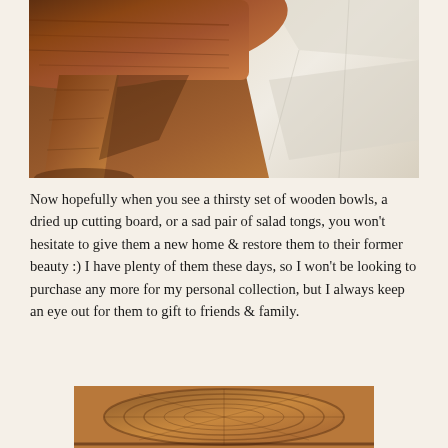[Figure (photo): Close-up photo of a wooden bowl or furniture piece with warm brown tones, showing wood grain detail alongside white tissue or paper packaging]
Now hopefully when you see a thirsty set of wooden bowls, a dried up cutting board, or a sad pair of salad tongs, you won't hesitate to give them a new home & restore them to their former beauty :) I have plenty of them these days, so I won't be looking to purchase any more for my personal collection, but I always keep an eye out for them to gift to friends & family.
[Figure (photo): Close-up photo of bottom of a wooden bowl showing woven or textured base, warm brown tones]